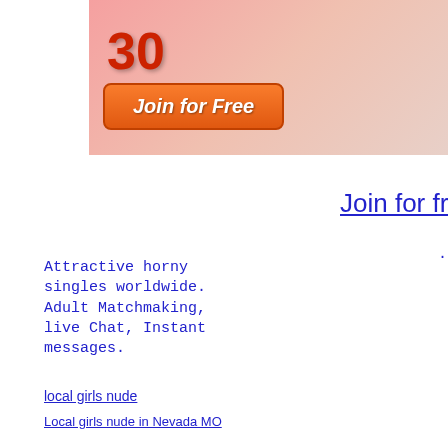[Figure (photo): Banner advertisement showing a number 30, a join for free button on orange background with a person in background]
Join for fre
Attractive horny singles worldwide. Adult Matchmaking, live Chat, Instant messages.
Personal Details: I am a m unpredictable guy Hi i m 24 t i m an engineer... I like w social circles... Meet me and out more...'
local girls nude
Local girls nude in Nevada MO
Local girls nude in Amagansett NY
Local girls nude in Keyesport IL
Local girls nude in Rocheport MO
Local girls nude in Sebago lake ME
Local girls nude in Killawog NY
Local girls nude in Tecumseh KS
Local girls nude in Parksville SC
Local girls nude in Binger OK
Local girls nude in Manchester CA
Join for free
Personal Details: one night one night stands Local girls nude
Personal Details: hot and h for you 5ft 9in 200 pounds hair blue eyes Local girls nude
Personal Details: looking f I"m 39 female from Hermist looking to meet men near my dominate female. Looking for men...' Local girls nude in Fom